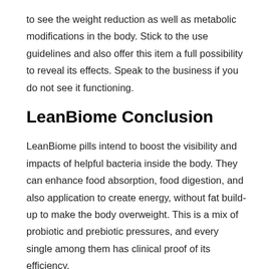to see the weight reduction as well as metabolic modifications in the body. Stick to the use guidelines and also offer this item a full possibility to reveal its effects. Speak to the business if you do not see it functioning.
LeanBiome Conclusion
LeanBiome pills intend to boost the visibility and impacts of helpful bacteria inside the body. They can enhance food absorption, food digestion, and also application to create energy, without fat build-up to make the body overweight. This is a mix of probiotic and prebiotic pressures, and every single among them has clinical proof of its efficiency.
There is no way this supplement can fail for an individual, however if the customer is miserable, he can request a full refund within 180 days of purchase. If you have decided to give it a try, do not assume any longer and also go to the main web site today to